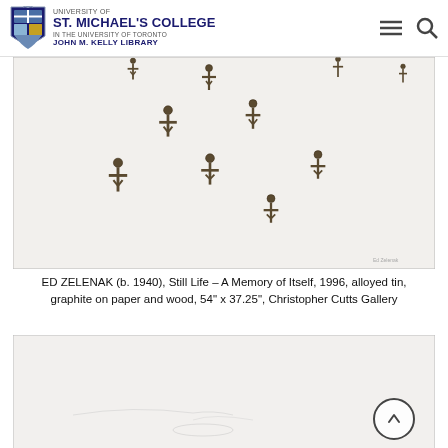University of St. Michael's College in the University of Toronto – John M. Kelly Library
[Figure (photo): Artwork photo: multiple small alloyed tin crucifix figures mounted on white paper/wood background, scattered across the surface]
ED ZELENAK (b. 1940), Still Life – A Memory of Itself, 1996, alloyed tin, graphite on paper and wood, 54" x 37.25", Christopher Cutts Gallery
[Figure (photo): Partial view of a second artwork on white paper/wood background, with faint graphite marks visible]